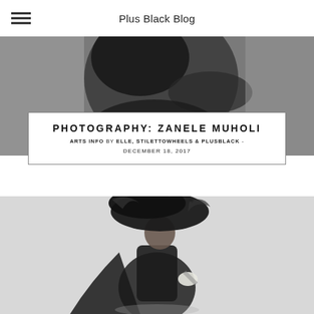Plus Black Blog
[Figure (photo): Black and white photograph of a person in dark clothing, partially cropped]
PHOTOGRAPHY: ZANELE MUHOLI
ARTS INFO by ELLE, STILETTOWHEELS & PLUSBLACK - DECEMBER 18, 2017
[Figure (photo): Black and white photograph of a woman in a large feathered hat and black cape dress, posing elegantly]